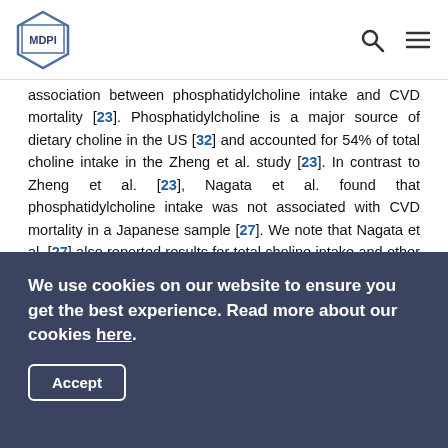MDPI
association between phosphatidylcholine intake and CVD mortality [23]. Phosphatidylcholine is a major source of dietary choline in the US [32] and accounted for 54% of total choline intake in the Zheng et al. study [23]. In contrast to Zheng et al. [23], Nagata et al. found that phosphatidylcholine intake was not associated with CVD mortality in a Japanese sample [27]. We note that Nagata et al. [27] also reported results for total choline intake and other choline compounds; we elected to use results for phosphatidylcholine for comparability with Zheng et al. [23]
	With only two studies, we were not able to determine sources of heterogeneity that may explain differences in findings. Nagata et al. [27] was conducted in Japan, while
We use cookies on our website to ensure you get the best experience. Read more about our cookies here.
Accept